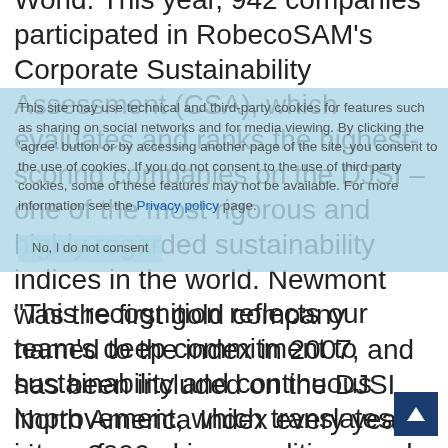World. This year, 942 companies participated in RobecoSAM's Corporate Sustainability Assessment (CSA), which evaluates and ranks the highest-scoring companies on the DJSI – one of the most rigorous and highly regarded sustainability indices in the world. Newmont was the first gold company named to the index in 2007, and has been included on the DJSI North America Index every year since 2006.
This site may use technical and third-party cookies for features such as sharing on social networks and for media viewing. By clicking the 'agree' button or by accessing another page of the site, you consent to the use of cookies. If you do not consent to the use of third party cookies, some of these features may not be available. For more information see the Privacy policy page.
"This recognition reflects our team's deep commitment to sustainability and continuous improvement, which translates into safe working conditions and good jobs for employees; sustainable economic development for our host communities; responsible environmental management;
No, I do not consent